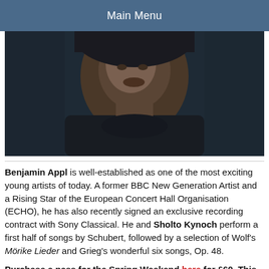Main Menu
[Figure (photo): Close-up portrait photo of a man (Benjamin Appl) wearing a dark shirt, looking slightly downward, dark background]
Benjamin Appl is well-established as one of the most exciting young artists of today. A former BBC New Generation Artist and a Rising Star of the European Concert Hall Organisation (ECHO), he has also recently signed an exclusive recording contract with Sony Classical. He and Sholto Kynoch perform a first half of songs by Schubert, followed by a selection of Wolf's Mörike Lieder and Grieg's wonderful six songs, Op. 48.
Purchase a pass for the Spring Weekend here for £60. This excellent-value pass gives access to all events over the weekend.
Before this evening's performance, enjoy a delicious